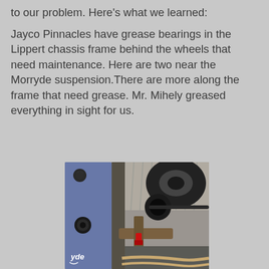to our problem. Here's what we learned:

Jayco Pinnacles have grease bearings in the Lippert chassis frame behind the wheels that need maintenance. Here are two near the Morryde suspension.There are more along the frame that need grease. Mr. Mihely greased everything in sight for us.
[Figure (photo): Close-up photo of the underside of a vehicle chassis showing a Morryde suspension component with a grease fitting, visible bolts, metal frame parts, and a wheel/tire in the background. A red grease fitting cap is visible.]